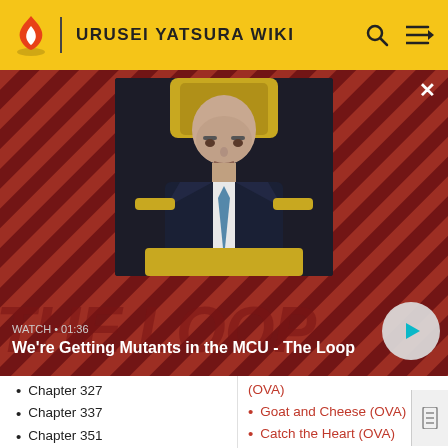URUSEI YATSURA WIKI
[Figure (screenshot): Video thumbnail showing a bald man in a suit sitting in a chair, against a red diagonal-striped background. Overlay text reads 'WATCH • 01:36' and 'We're Getting Mutants in the MCU - The Loop' with a play button.]
Chapter 327
Chapter 337
Chapter 351
Chapter 353
Chapter 356-366
Chapter 356
Chapter 358
(OVA)
Goat and Cheese (OVA)
Catch the Heart (OVA)
Terror of the Girly-eyes Measles (OVA)
Date with a Spirit